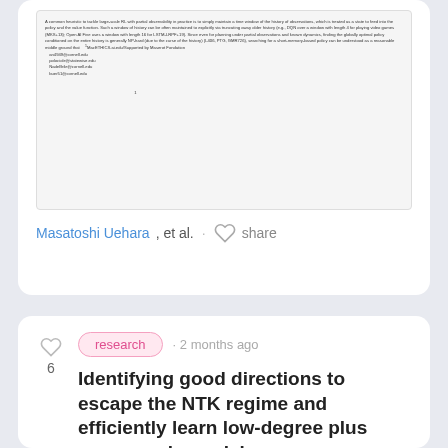[Figure (screenshot): Partial view of a scientific paper PDF showing dense text content with footnotes]
Masatoshi Uehara, et al. · share
research · 2 months ago
Identifying good directions to escape the NTK regime and efficiently learn low-degree plus sparse polynomials
A recent goal in the theory of deep learning is to identify how neural n...